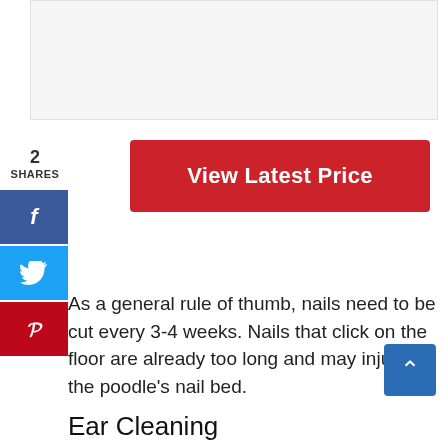[Figure (other): Advertisement placeholder area (gray box)]
2
SHARES
[Figure (other): Facebook share button (blue square with 'f' icon)]
[Figure (other): Twitter share button (light blue square with bird icon)]
[Figure (other): Pinterest share button (red square with 'p' icon)]
[Figure (other): Red 'View Latest Price' button]
As a general rule of thumb, nails need to be cut every 3-4 weeks. Nails that click on the floor are already too long and may injure the poodle's nail bed.
[Figure (other): Blue 'back to top' arrow button]
Ear Cleaning